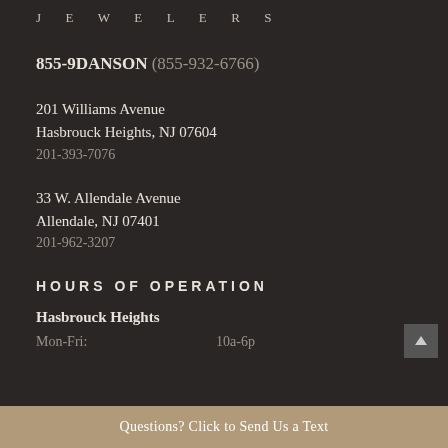JEWELERS
855-9DANSON (855-932-6766)
201 Williams Avenue
Hasbrouck Heights, NJ 07604
201-393-7076
33 W. Allendale Avenue
Allendale, NJ 07401
201-962-3207
HOURS OF OPERATION
Hasbrouck Heights
Mon-Fri:    10a-6p
Questions? Click to Send Us a Text